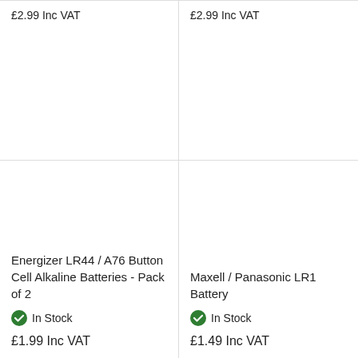£2.99 Inc VAT
£2.99 Inc VAT
[Figure (photo): Product image area for Energizer LR44 / A76 Button Cell Alkaline Batteries - Pack of 2 (empty/blank)]
Energizer LR44 / A76 Button Cell Alkaline Batteries - Pack of 2
In Stock
£1.99 Inc VAT
[Figure (photo): Product image area for Maxell / Panasonic LR1 Battery (empty/blank)]
Maxell / Panasonic LR1 Battery
In Stock
£1.49 Inc VAT